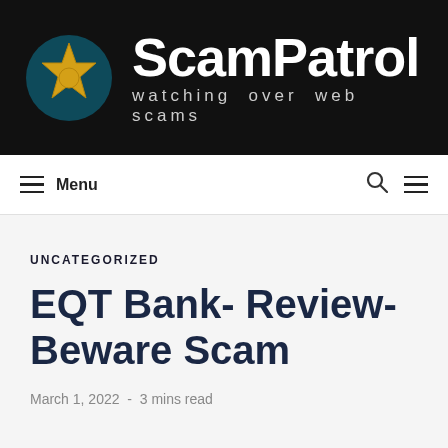[Figure (logo): ScamPatrol website header with dark background, gold sheriff star badge icon on left, large white 'ScamPatrol' text, and tagline 'watching over web scams' below in lighter gray spaced letters]
Menu | Search
UNCATEGORIZED
EQT Bank- Review- Beware Scam
March 1, 2022  -  3 mins read